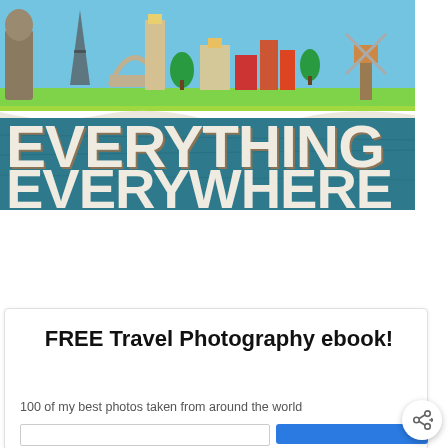[Figure (illustration): Everything Everywhere travel blog banner with illustrated landmarks (Eiffel Tower, windmill, buildings, statues) on a map background with bold text reading 'EVERYTHING EVERYWHERE']
FREE Travel Photography ebook!
100 of my best photos taken from around the world